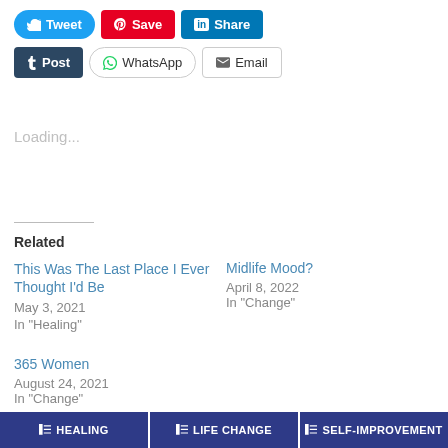[Figure (screenshot): Social share buttons row 1: Tweet (blue), Save (red Pinterest), Share (blue LinkedIn)]
[Figure (screenshot): Social share buttons row 2: Post (dark Tumblr), WhatsApp (outline), Email (outline)]
Loading...
Related
This Was The Last Place I Ever Thought I'd Be
May 3, 2021
In "Healing"
Midlife Mood?
April 8, 2022
In "Change"
365 Women
August 24, 2021
In "Change"
HEALING
LIFE CHANGE
SELF-IMPROVEMENT